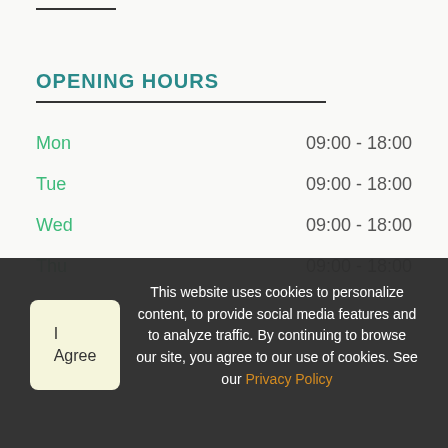OPENING HOURS
Mon   09:00 - 18:00
Tue   09:00 - 18:00
Wed   09:00 - 18:00
Thu   09:00 - 18:00
This website uses cookies to personalize content, to provide social media features and to analyze traffic. By continuing to browse our site, you agree to our use of cookies. See our Privacy Policy